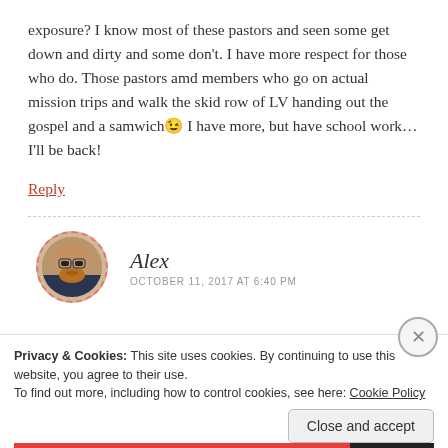exposure? I know most of these pastors and seen some get down and dirty and some don't. I have more respect for those who do. Those pastors amd members who go on actual mission trips and walk the skid row of LV handing out the gospel and a samwich😉 I have more, but have school work… I'll be back!
Reply
[Figure (photo): Circular avatar photo of a bearded man wearing glasses, with a dashed red border]
Alex
OCTOBER 11, 2017 AT 6:40 PM
Privacy & Cookies: This site uses cookies. By continuing to use this website, you agree to their use.
To find out more, including how to control cookies, see here: Cookie Policy